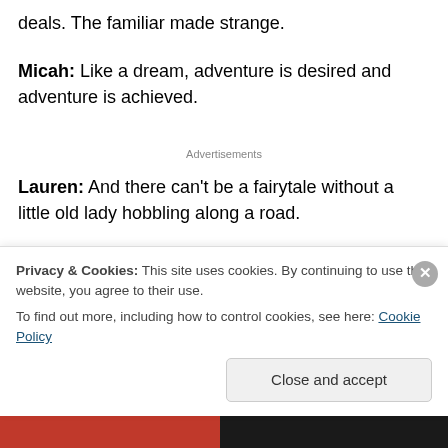deals. The familiar made strange.
Micah: Like a dream, adventure is desired and adventure is achieved.
Advertisements
Lauren: And there can't be a fairytale without a little old lady hobbling along a road.
1. Bradley Minnick: Or a bicycle maybe. I like the red
Privacy & Cookies: This site uses cookies. By continuing to use this website, you agree to their use. To find out more, including how to control cookies, see here: Cookie Policy
Close and accept